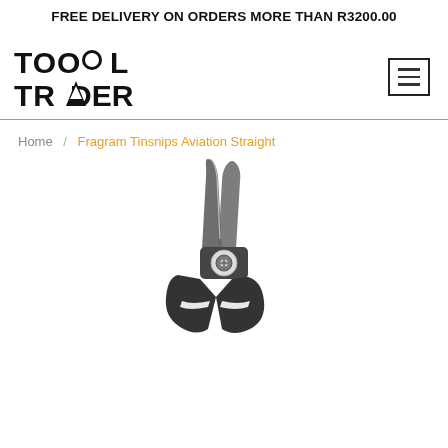FREE DELIVERY ON ORDERS MORE THAN R3200.00
[Figure (logo): Tool Trader logo in bold black text with stylized letters]
Home / Fragram Tinsnips Aviation Straight
[Figure (photo): Fragram Tinsnips Aviation Straight scissors/snips tool, viewed from above showing the pointed blades and dark handles with pivot screw]